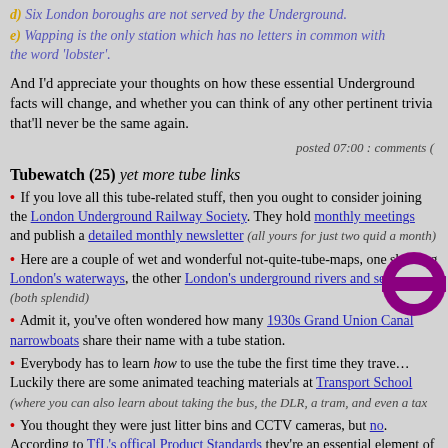d) Six London boroughs are not served by the Underground.
e) Wapping is the only station which has no letters in common with the word 'lobster'.
And I'd appreciate your thoughts on how these essential Underground facts will change, and whether you can think of any other pertinent trivia that'll never be the same again.
posted 07:00 : comments (
Tubewatch (25) yet more tube links
If you love all this tube-related stuff, then you ought to consider joining the London Underground Railway Society. They hold monthly meetings and publish a detailed monthly newsletter (all yours for just two quid a month)
Here are a couple of wet and wonderful not-quite-tube-maps, one showing London's waterways, the other London's underground rivers and sewers (both splendid)
Admit it, you've often wondered how many 1930s Grand Union Canal narrowboats share their name with a tube station.
Everybody has to learn how to use the tube the first time they travel. Luckily there are some animated teaching materials at Transport School (where you can also learn about taking the bus, the DLR, a tram, and even a tax
You thought they were just litter bins and CCTV cameras, but no. According to TfL's offical Product Standards they're an essential element of a "well designed, confident and consistent visual identity
(mmm, see how "the lack of horizontal surfaces" on that bicycle rack can "discourage the